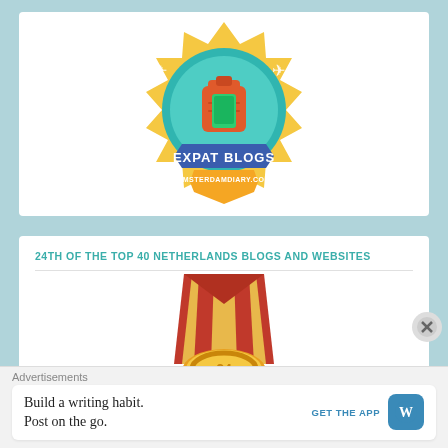[Figure (logo): Expat Blogs award badge for amsterdamdiary.com — a circular teal badge with backpack illustration, airplane icons, blue ribbon banner reading EXPAT BLOGS, and gold ribbon at bottom reading AMSTERDAMDIARY.COM]
24TH OF THE TOP 40 NETHERLANDS BLOGS AND WEBSITES
[Figure (illustration): Gold medal with red and gold ribbon streaks hanging down from the top]
Advertisements
Build a writing habit. Post on the go.
GET THE APP